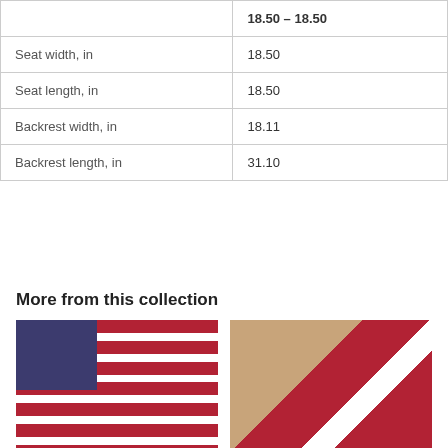| Attribute | Value |
| --- | --- |
|  | 18.50 – 18.50 |
| Seat width, in | 18.50 |
| Seat length, in | 18.50 |
| Backrest width, in | 18.11 |
| Backrest length, in | 31.10 |
More from this collection
[Figure (photo): Product photo of an American flag patterned item (mask/hat shape)]
[Figure (photo): Photo of a smiling man wearing sunglasses in front of an American flag]